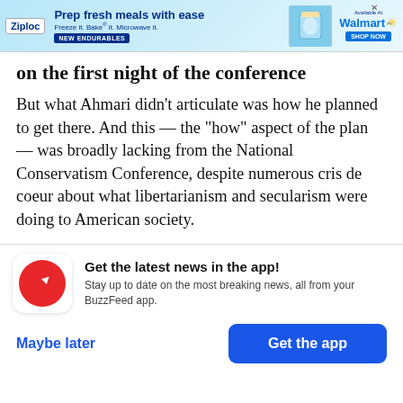[Figure (screenshot): Ziploc advertisement banner: 'Prep fresh meals with ease. Freeze it. Bake it. Microwave it. NEW ENDURABLES. Available at Walmart. SHOP NOW.']
on the first night of the conference
But what Ahmari didn’t articulate was how he planned to get there. And this — the “how” aspect of the plan — was broadly lacking from the National Conservatism Conference, despite numerous cris de coeur about what libertarianism and secularism were doing to American society.
Get the latest news in the app! Stay up to date on the most breaking news, all from your BuzzFeed app.
Maybe later
Get the app